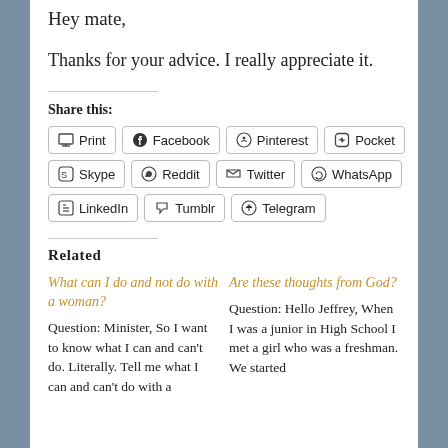Hey mate,
Thanks for your advice. I really appreciate it.
Share this:
[Figure (other): Social sharing buttons: Print, Facebook, Pinterest, Pocket, Skype, Reddit, Twitter, WhatsApp, LinkedIn, Tumblr, Telegram]
Related
What can I do and not do with a woman?
Question: Minister, So I want to know what I can and can't do. Literally. Tell me what I can and can't do with a
Are these thoughts from God?
Question: Hello Jeffrey, When I was a junior in High School I met a girl who was a freshman. We started